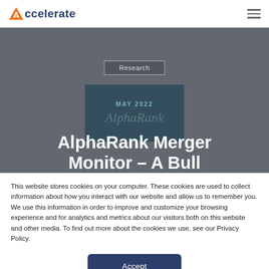Accelerate
[Figure (screenshot): Hero banner with gray background showing a document card labeled MAY 2022 and AlphaRank watermark text]
Research
AlphaRank Merger Monitor – A Bull
This website stores cookies on your computer. These cookies are used to collect information about how you interact with our website and allow us to remember you. We use this information in order to improve and customize your browsing experience and for analytics and metrics about our visitors both on this website and other media. To find out more about the cookies we use, see our Privacy Policy.
Accept